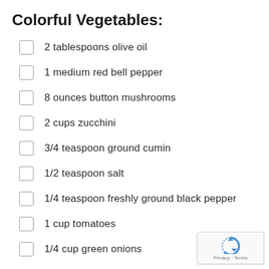Colorful Vegetables:
2 tablespoons olive oil
1 medium red bell pepper
8 ounces button mushrooms
2 cups zucchini
3/4 teaspoon ground cumin
1/2 teaspoon salt
1/4 teaspoon freshly ground black pepper
1 cup tomatoes
1/4 cup green onions